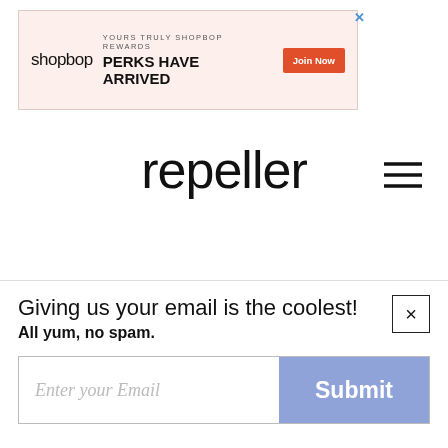[Figure (other): Shopbop advertisement banner: 'YOURS TRULY SHOPBOP REWARDS / PERKS HAVE ARRIVED' with a Join Now button on coral/peach background]
repeller
This site is no longer being updated.
ARCHIVE
The Significance of
Giving us your email is the coolest!
All yum, no spam.